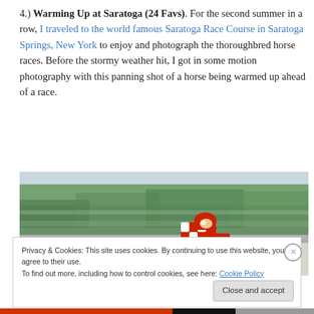4.) Warming Up at Saratoga (24 Favs). For the second summer in a row, I traveled to the world famous Saratoga Race Course in Saratoga Springs, New York to enjoy and photograph the thoroughbred horse races. Before the stormy weather hit, I got in some motion photography with this panning shot of a horse being warmed up ahead of a race.
[Figure (photo): Motion-blur panning shot of a jockey in red and white checkered silks on a horse at Saratoga Race Course, with green trees blurred in background]
Privacy & Cookies: This site uses cookies. By continuing to use this website, you agree to their use.
To find out more, including how to control cookies, see here: Cookie Policy